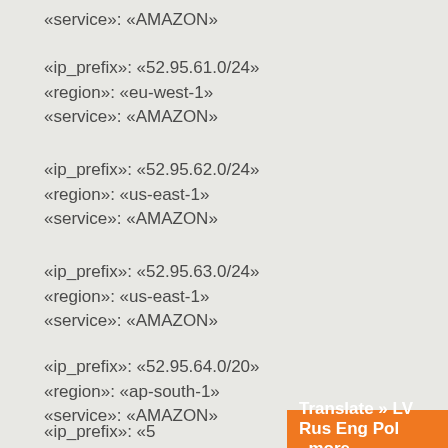«service»: «AMAZON»
«ip_prefix»: «52.95.61.0/24»
«region»: «eu-west-1»
«service»: «AMAZON»
«ip_prefix»: «52.95.62.0/24»
«region»: «us-east-1»
«service»: «AMAZON»
«ip_prefix»: «52.95.63.0/24»
«region»: «us-east-1»
«service»: «AMAZON»
«ip_prefix»: «52.95.64.0/20»
«region»: «ap-south-1»
«service»: «AMAZON»
«ip_prefix»: «5…
Translate » LV Rus Eng Pol ..more..